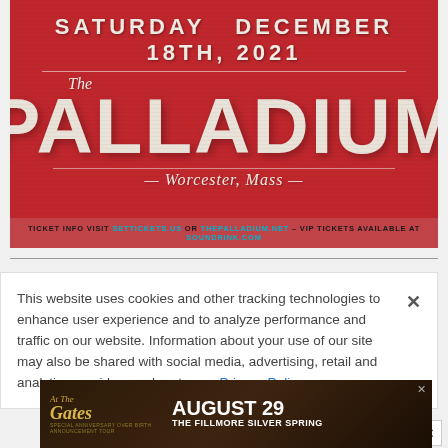[Figure (illustration): Event poster for The Palladium in Worcester, Mass on Saturday December 18th, 2021. Red background with large white distressed typography. Bottom text: TICKET INFO VISIT SETTICKETS.US OR THEPALLADIUM.NET - VIP TICKETS AVAILABLE AT SOUNDRINK.COM]
This website uses cookies and other tracking technologies to enhance user experience and to analyze performance and traffic on our website. Information about your use of our site may also be shared with social media, advertising, retail and analytics providers and partners. Privacy Policy
[Figure (illustration): At The Gates advertisement banner. August 29 The Fillmore Silver Spring. Dark background with band imagery.]